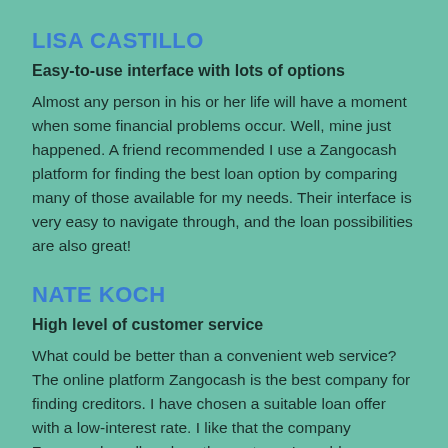LISA CASTILLO
Easy-to-use interface with lots of options
Almost any person in his or her life will have a moment when some financial problems occur. Well, mine just happened. A friend recommended I use a Zangocash platform for finding the best loan option by comparing many of those available for my needs. Their interface is very easy to navigate through, and the loan possibilities are also great!
NATE KOCH
High level of customer service
What could be better than a convenient web service? The online platform Zangocash is the best company for finding creditors. I have chosen a suitable loan offer with a low-interest rate. I like that the company Zangocash really solves the customer's problems. Thanks!